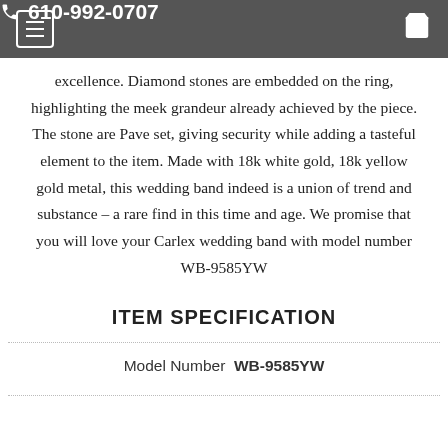☎ 610-992-0707
excellence. Diamond stones are embedded on the ring, highlighting the meek grandeur already achieved by the piece. The stone are Pave set, giving security while adding a tasteful element to the item. Made with 18k white gold, 18k yellow gold metal, this wedding band indeed is a union of trend and substance – a rare find in this time and age. We promise that you will love your Carlex wedding band with model number WB-9585YW
ITEM SPECIFICATION
|  |  |
| --- | --- |
| Model Number | WB-9585YW |
| Collection: | G2 |